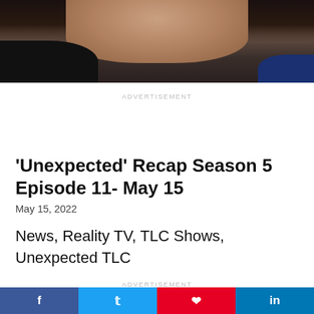[Figure (photo): Cropped photo of a woman with dark hair wearing a black top, partially visible from the shoulders up against a light background]
ADVERTISEMENT
'Unexpected' Recap Season 5 Episode 11- May 15
May 15, 2022
News, Reality TV, TLC Shows, Unexpected TLC
ADVERTISEMENT
[Figure (infographic): Social media share buttons: Facebook, Twitter, Pinterest, LinkedIn]